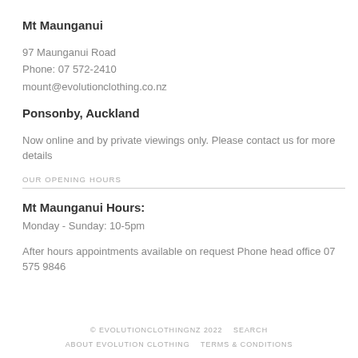Mt Maunganui
97 Maunganui Road
Phone: 07 572-2410
mount@evolutionclothing.co.nz
Ponsonby, Auckland
Now online and by private viewings only. Please contact us for more details
OUR OPENING HOURS
Mt Maunganui Hours:
Monday - Sunday: 10-5pm
After hours appointments available on request Phone head office 07 575 9846
© EVOLUTIONCLOTHINGNZ 2022   SEARCH
ABOUT EVOLUTION CLOTHING   TERMS & CONDITIONS